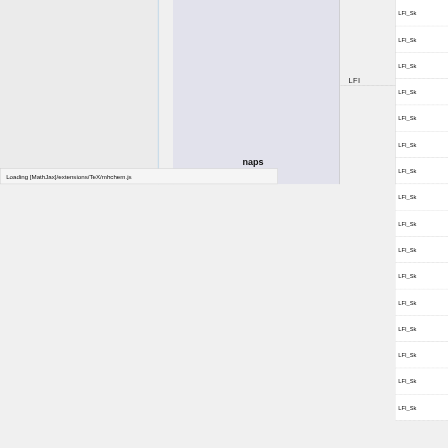[Figure (screenshot): Screenshot of a web application UI showing a table/list interface with a left gray panel, a thin blue vertical line, a lighter gray center panel, a 'LFI' label, and a right column of rows each labeled 'LFI_Sk' (truncated). At the bottom left is a browser status bar showing 'Loading [MathJax]/extensions/TeX/mhchem.js' and text 'naps' is visible near the bottom center.]